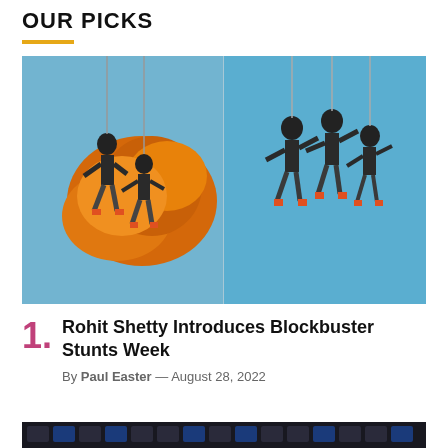OUR PICKS
[Figure (photo): Two-panel action photo showing stunt performers suspended by wires against explosion and blue sky backgrounds. Left panel: two performers in military gear mid-air with an orange explosion behind them. Right panel: three performers in military/tactical gear suspended against a clear blue sky.]
1. Rohit Shetty Introduces Blockbuster Stunts Week — By Paul Easter — August 28, 2022
[Figure (photo): Partial image of a keyboard with blue and black keys, cropped at the bottom of the page.]